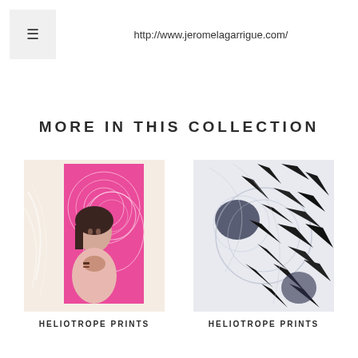http://www.jeromelagarrigue.com/
MORE IN THIS COLLECTION
[Figure (illustration): Artwork painting of a woman with pink magenta background with decorative patterns, woman wearing pink outfit clasping hands near chest]
HELIOTROPE PRINTS
[Figure (illustration): Abstract black and white graphic artwork with sharp angular geometric shapes on light grey background with dark ink splatter]
HELIOTROPE PRINTS